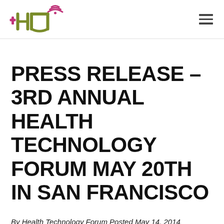Health Technology Forum logo and navigation
PRESS RELEASE – 3RD ANNUAL HEALTH TECHNOLOGY FORUM MAY 20TH IN SAN FRANCISCO
By Health Technology Forum Posted May 14, 2014 In Uncategorized